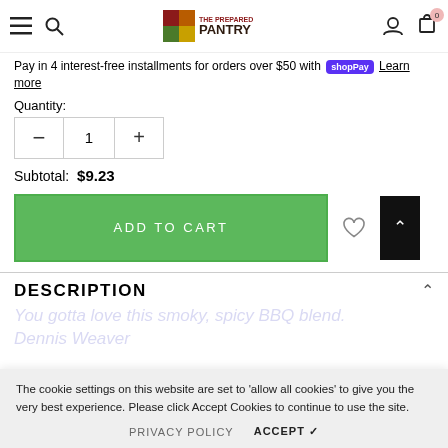The Prepared Pantry — navigation bar
Pay in 4 interest-free installments for orders over $50 with Shop Pay Learn more
Quantity:
1
Subtotal: $9.23
ADD TO CART
DESCRIPTION
You gotta love this smoky, spicy BBQ blend. - Dennis Weaver
The cookie settings on this website are set to 'allow all cookies' to give you the very best experience. Please click Accept Cookies to continue to use the site.
PRIVACY POLICY  ACCEPT ✓